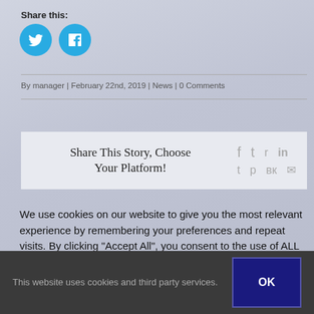Share this:
[Figure (other): Twitter and Facebook share buttons (cyan circles with white icons)]
By manager | February 22nd, 2019 | News | 0 Comments
Share This Story, Choose Your Platform!
[Figure (other): Social media sharing icons: Facebook, Twitter, Reddit, LinkedIn, Pinterest, VK, Email]
We use cookies on our website to give you the most relevant experience by remembering your preferences and repeat visits. By clicking “Accept All”, you consent to the use of ALL the cookies. However, you may visit "Cookie Settings" to provide a controlled consent.
This website uses cookies and third party services.
OK